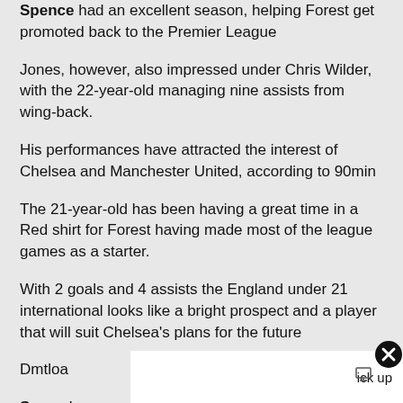Spence had an excellent season, helping Forest get promoted back to the Premier League
Jones, however, also impressed under Chris Wilder, with the 22-year-old managing nine assists from wing-back.
His performances have attracted the interest of Chelsea and Manchester United, according to 90min
The 21-year-old has been having a great time in a Red shirt for Forest having made most of the league games as a starter.
With 2 goals and 4 assists the England under 21 international looks like a bright prospect and a player that will suit Chelsea's plans for the future
Dmtload [obscured] pick up next se[obscured]
Spece h[obscured] rather than an[obscured]